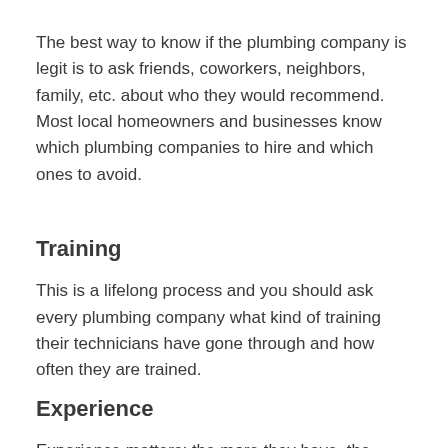The best way to know if the plumbing company is legit is to ask friends, coworkers, neighbors, family, etc. about who they would recommend. Most local homeowners and businesses know which plumbing companies to hire and which ones to avoid.
Training
This is a lifelong process and you should ask every plumbing company what kind of training their technicians have gone through and how often they are trained.
Experience
Experience matters: the more they have, the better. Also, if a company has been doing it for a while, they deserve